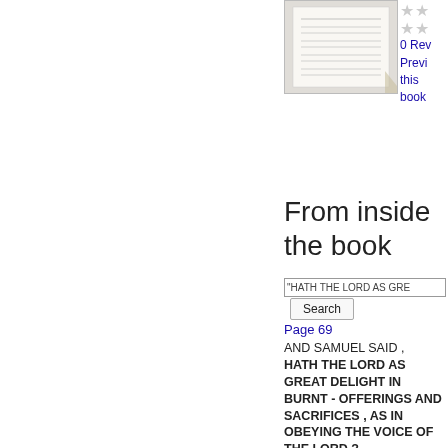[Figure (other): Thumbnail image of a book's table of contents page]
0 Reviews
Preview this book
From inside the book
"HATH THE LORD AS GRE
Search
Page 69
AND SAMUEL SAID , HATH THE LORD AS GREAT DELIGHT IN BURNT - OFFERINGS AND SACRIFICES , AS IN OBEYING THE VOICE OF THE LORD ?